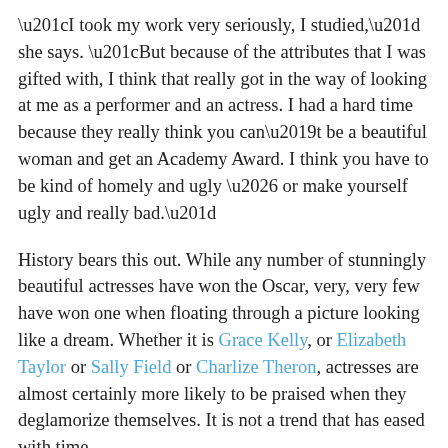“I took my work very seriously, I studied,” she says. “But because of the attributes that I was gifted with, I think that really got in the way of looking at me as a performer and an actress. I had a hard time because they really think you can’t be a beautiful woman and get an Academy Award. I think you have to be kind of homely and ugly … or make yourself ugly and really bad.”
History bears this out. While any number of stunningly beautiful actresses have won the Oscar, very, very few have won one when floating through a picture looking like a dream. Whether it is Grace Kelly, or Elizabeth Taylor or Sally Field or Charlize Theron, actresses are almost certainly more likely to be praised when they deglamorize themselves. It is not a trend that has eased with time.
There is a memory that apparently still rankles Mamie. “It’s like when Marilyn did “Bus Stop” (1956), she didn’t even get nominated for an award. I mean, she was lovely in that and never even got nominated. That’s just so bad.”
Mamie cites actress Kim Basinger for having opened up that